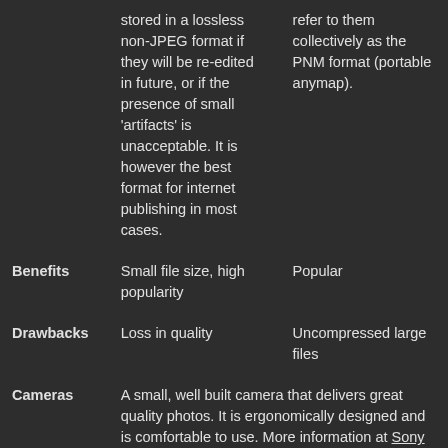|  | JPEG | PNM |
| --- | --- | --- |
|  | stored in a lossless non-JPEG format if they will be re-edited in future, or if the presence of small 'artifacts' is unacceptable. It is however the best format for internet publishing in most cases. | refer to them collectively as the PNM format (portable anymap). |
| Benefits | Small file size, high popularity | Popular |
| Drawbacks | Loss in quality | Uncompressed large files |
| Cameras | A small, well built camera that delivers great quality photos. It is ergonomically designed and is comfortable to use. More information at Sony NEX-5 official page. |  |
| Megapixels | 14.20 |
| --- | --- |